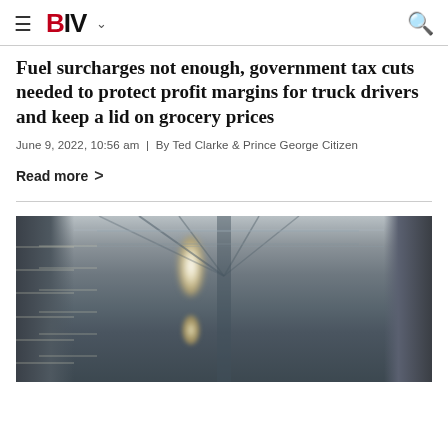BIV
Fuel surcharges not enough, government tax cuts needed to protect profit margins for truck drivers and keep a lid on grocery prices
June 9, 2022, 10:56 am | By Ted Clarke & Prince George Citizen
Read more >
[Figure (photo): Interior of a warehouse or distribution center showing shelving racks on the left side, a large ceiling with structural beams and bright overhead lighting in the center, and a dark storage area to the right. The perspective is looking down a warehouse aisle.]